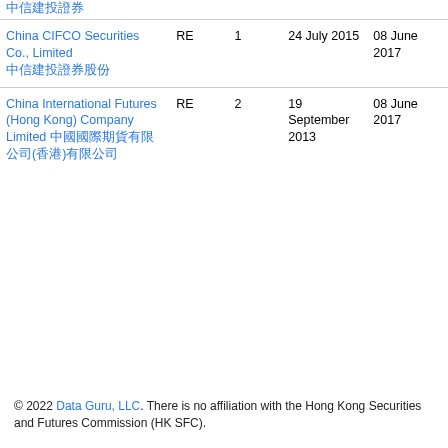| Name | Type | No. | Date1 | Date2 |
| --- | --- | --- | --- | --- |
| China CIFCO Securities Co., Limited 中信建投證券股份 | RE | 1 | 24 July 2015 | 08 June 2017 |
| China International Futures (Hong Kong) Company Limited 中國國際期貨有限公司(香港)有限公司 | RE | 2 | 19 September 2013 | 08 June 2017 |
© 2022 Data Guru, LLC. There is no affiliation with the Hong Kong Securities and Futures Commission (HK SFC).